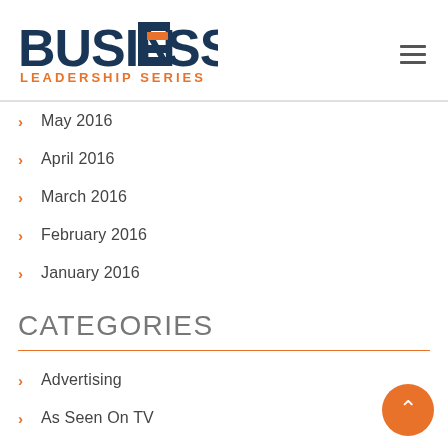BUSINESS LEADERSHIP SERIES
May 2016
April 2016
March 2016
February 2016
January 2016
CATEGORIES
Advertising
As Seen On TV